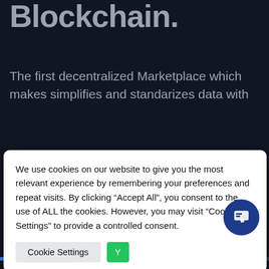Blockchain.
The first decentralized Marketplace which makes simplifies and standarizes data with
We use cookies on our website to give you the most relevant experience by remembering your preferences and repeat visits. By clicking "Accept All", you consent to the use of ALL the cookies. However, you may visit "Cookie Settings" to provide a controlled consent.
Cookie Settings | Y[Accept All]
Welcome to iTraceiT!
Do you have questions? We will be happy to help you.
Raised – 1,450 Tokens
Target – 150,000 T